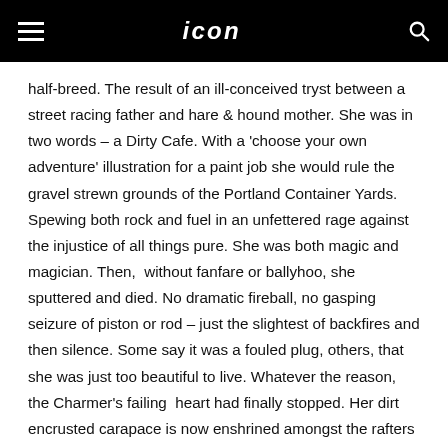ICON (logo header with hamburger menu and search icon)
half-breed. The result of an ill-conceived tryst between a street racing father and hare & hound mother. She was in two words – a Dirty Cafe. With a 'choose your own adventure' illustration for a paint job she would rule the gravel strewn grounds of the Portland Container Yards. Spewing both rock and fuel in an unfettered rage against the injustice of all things pure. She was both magic and magician. Then,  without fanfare or ballyhoo, she sputtered and died. No dramatic fireball, no gasping seizure of piston or rod – just the slightest of backfires and then silence. Some say it was a fouled plug, others, that she was just too beautiful to live. Whatever the reason, the Charmer's failing  heart had finally stopped. Her dirt encrusted carapace is now enshrined amongst the rafters of the Slabtown whisketeria, where she looks down longingly on